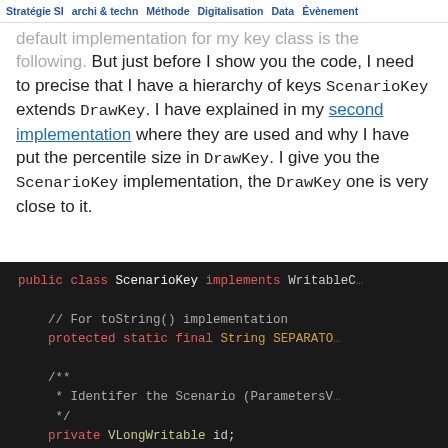Stratégie SI  archi & techn  Méthode  Digitalisation  Data  Évènement
default implementation for my key class is the following. But just before I show you the code, I need to precise that I have a hierarchy of keys ScenarioKey extends DrawKey. I have explained in my second implementation where they are used and why I have put the percentile size in DrawKey. I give you the ScenarioKey implementation, the DrawKey one is very close to it.
[Figure (screenshot): Dark-themed code editor screenshot showing Java code for 'public class ScenarioKey implements WritableC...' with syntax highlighting: red keywords (public, class, implements, protected, static, final, private), yellow identifiers (String SEPARATO..., VLongWritable), white class names, and gray comments including '// For toString() implementation', '/** * Identifer the Scenario (ParametersV... */', 'private VLongWritable id;', '/**', '* Size of the percentile = totalNumb...']